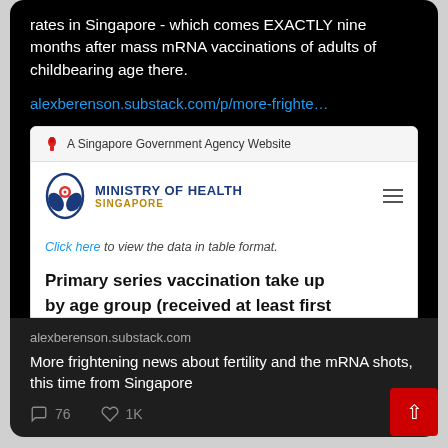rates in Singapore - which comes EXACTLY nine months after mass mRNA vaccinations of adults of childbearing age there.
alexberenson.substack.com/p/more-frighte…
[Figure (screenshot): Screenshot of Singapore Ministry of Health government website showing 'A Singapore Government Agency Website' banner, MOH logo, and partial page content with text 'Click here to view the data in table format.' and heading 'Primary series vaccination take up by age group (received at least first...']
alexberenson.substack.com
More frightening news about fertility and the mRNA shots, this time from Singapore
76  1K